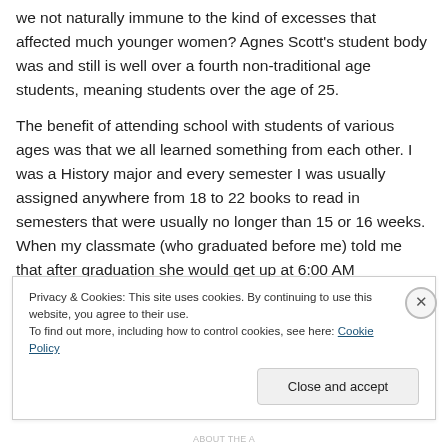we not naturally immune to the kind of excesses that affected much younger women?  Agnes Scott's student body was and still is well over a fourth non-traditional age students, meaning students over the age of 25.
The benefit of attending school with students of various ages was that we all learned something from each other.  I was a History major and every semester I was usually assigned anywhere from 18 to 22 books to read in semesters that were usually no longer than 15 or 16 weeks.  When my classmate (who graduated before me) told me that after graduation she would get up at 6:00 AM
Privacy & Cookies: This site uses cookies. By continuing to use this website, you agree to their use.
To find out more, including how to control cookies, see here: Cookie Policy